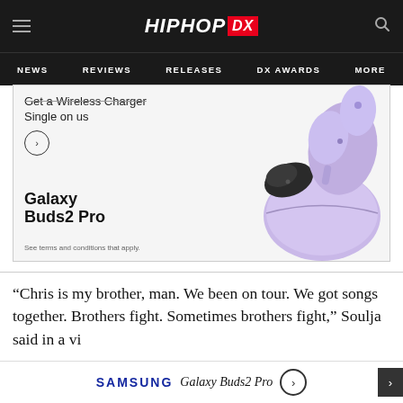HIPHOP DX — NEWS | REVIEWS | RELEASES | DX AWARDS | MORE
[Figure (photo): Samsung Galaxy Buds2 Pro advertisement showing wireless earbuds in lavender/purple color with charging case. Text: 'Get a Wireless Charger Single on us', 'Galaxy Buds2 Pro', 'See terms and conditions that apply.']
“Chris is my brother, man. We been on tour. We got songs together. Brothers fight. Sometimes brothers fight,” Soulja said in a video uploaded to Instagram.
[Figure (other): Samsung Galaxy Buds2 Pro bottom advertisement banner with Samsung logo and arrow button.]